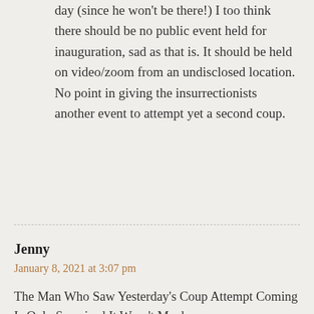day (since he won't be there!) I too think there should be no public event held for inauguration, sad as that is. It should be held on video/zoom from an undisclosed location. No point in giving the insurrectionists another event to attempt yet a second coup.
Jenny
January 8, 2021 at 3:07 pm
The Man Who Saw Yesterday's Coup Attempt Coming Is Only Surprised It Wasn't Much